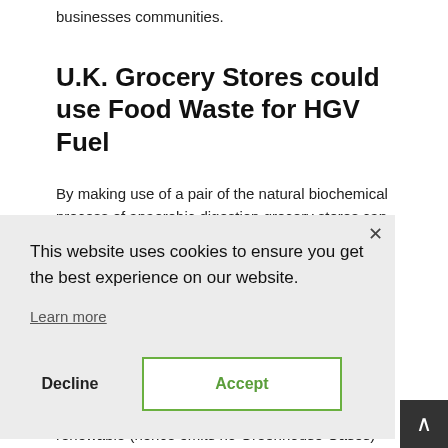businesses communities.
U.K. Grocery Stores could use Food Waste for HGV Fuel
By making use of a pair of the natural biochemical process of anaerobic digestion grocery stores can turn
This website uses cookies to ensure you get the best experience on our website.
Learn more
Decline
Accept
renewable (hence emits no Greenhouse Gases)